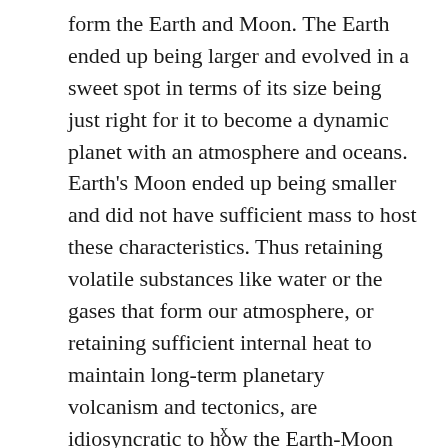form the Earth and Moon. The Earth ended up being larger and evolved in a sweet spot in terms of its size being just right for it to become a dynamic planet with an atmosphere and oceans. Earth's Moon ended up being smaller and did not have sufficient mass to host these characteristics. Thus retaining volatile substances like water or the gases that form our atmosphere, or retaining sufficient internal heat to maintain long-term planetary volcanism and tectonics, are idiosyncratic to how the Earth-Moon forming collision occurred. Decades of observations have demonstrated that lunar history was much more dynamic than expected with volcanic and magnetic activity occurring as recently as 1 billion years ago, much later than expected.
x